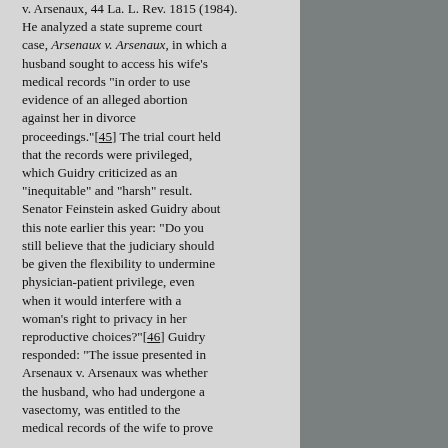v. Arsenaux, 44 La. L. Rev. 1815 (1984). He analyzed a state supreme court case, Arsenaux v. Arsenaux, in which a husband sought to access his wife's medical records "in order to use evidence of an alleged abortion against her in divorce proceedings."[45] The trial court held that the records were privileged, which Guidry criticized as an "inequitable" and "harsh" result. Senator Feinstein asked Guidry about this note earlier this year: "Do you still believe that the judiciary should be given the flexibility to undermine physician-patient privilege, even when it would interfere with a woman's right to privacy in her reproductive choices?"[46] Guidry responded: "The issue presented in Arsenaux v. Arsenaux was whether the husband, who had undergone a vasectomy, was entitled to the medical records of the wife to prove